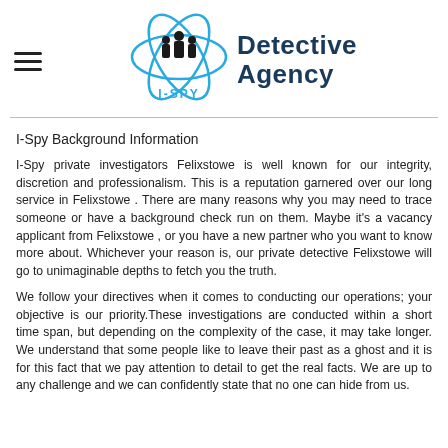[Figure (logo): I-SPY Detective Agency logo with blue atom/orbit graphic and silhouette figures, with text 'Detective Agency' and 'I-SPY' below]
I-Spy Background Information
I-Spy private investigators Felixstowe is well known for our integrity, discretion and professionalism. This is a reputation garnered over our long service in Felixstowe . There are many reasons why you may need to trace someone or have a background check run on them. Maybe it's a vacancy applicant from Felixstowe , or you have a new partner who you want to know more about. Whichever your reason is, our private detective Felixstowe will go to unimaginable depths to fetch you the truth.
We follow your directives when it comes to conducting our operations; your objective is our priority.These investigations are conducted within a short time span, but depending on the complexity of the case, it may take longer. We understand that some people like to leave their past as a ghost and it is for this fact that we pay attention to detail to get the real facts. We are up to any challenge and we can confidently state that no one can hide from us.